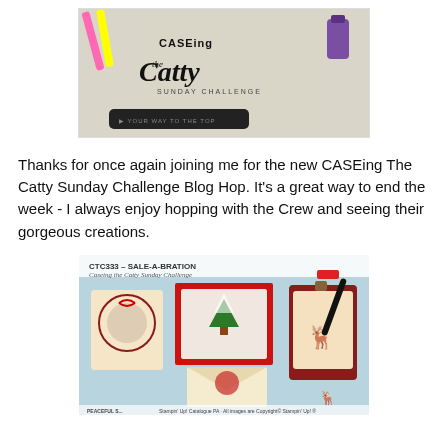[Figure (photo): CASEing the Catty Sunday Challenge banner logo with crafting supplies in background]
Thanks for once again joining me for the new CASEing The Catty Sunday Challenge Blog Hop. It's a great way to end the week - I always enjoy hopping with the Crew and seeing their gorgeous creations.
[Figure (photo): CTC333 Sale-A-Bration challenge image showing Christmas-themed handmade cards and gift tags with Stampin Up products]